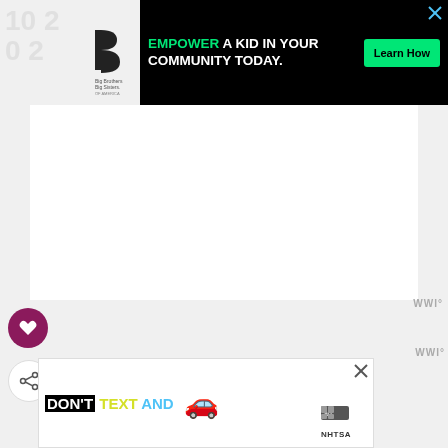[Figure (other): Big Brothers Big Sisters of America logo in top-left corner, partially cropped]
[Figure (other): Advertisement banner: black background with green EMPOWER text, 'A KID IN YOUR COMMUNITY TODAY.' and a green Learn How button]
[Figure (other): Large white blank content area - webpage main content area]
WWI°
[Figure (other): Purple circular heart/favorite button icon on left sidebar]
[Figure (other): White circular share button icon on left sidebar]
rep for Next Year
[Figure (other): Advertisement banner: DON'T TEXT AND [car emoji] NHTSA anti-texting while driving ad with ad badge]
WWI°